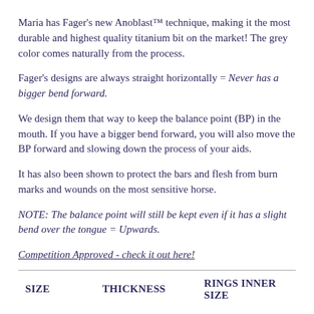Maria has Fager's new Anoblast™ technique, making it the most durable and highest quality titanium bit on the market! The grey color comes naturally from the process.
Fager's designs are always straight horizontally = Never has a bigger bend forward.
We design them that way to keep the balance point (BP) in the mouth. If you have a bigger bend forward, you will also move the BP forward and slowing down the process of your aids.
It has also been shown to protect the bars and flesh from burn marks and wounds on the most sensitive horse.
NOTE: The balance point will still be kept even if it has a slight bend over the tongue = Upwards.
Competition Approved - check it out here!
| SIZE | THICKNESS | RINGS INNER SIZE |
| --- | --- | --- |